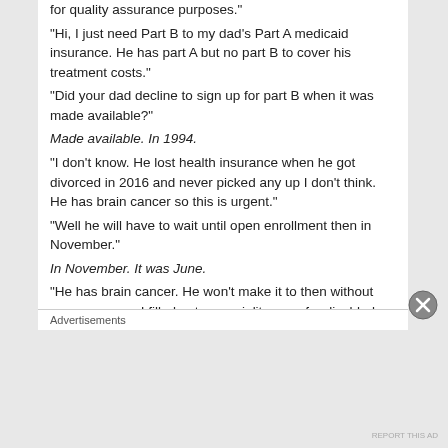for quality assurance purposes." "Hi, I just need Part B to my dad’s Part A medicaid insurance. He has part A but no part B to cover his treatment costs." "Did your dad decline to sign up for part B when it was made available?" Made available. In 1994. "I don’t know. He lost health insurance when he got divorced in 2016 and never picked any up I don’t think. He has brain cancer so this is urgent." "Well he will have to wait until open enrollment then in November." In November. It was June. "He has brain cancer. He won’t make it to then without coverage now. I filled out a speciality case for disabled people. I know this can get processed because of that." "I’m sorry, I think your dad might expire before I can get that processed for him. I’ll keep you in my
Advertisements